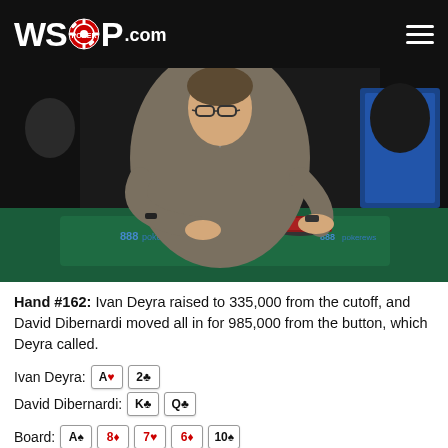WSOP.COM
[Figure (photo): A young man with glasses sitting at a poker table with 888poker branding, leaning forward with chips in front of him]
Hand #162: Ivan Deyra raised to 335,000 from the cutoff, and David Dibernardi moved all in for 985,000 from the button, which Deyra called.
Ivan Deyra: A♥ 2♣
David Dibernardi: K♣ Q♣
Board: A♠ 8♦ 7♥ 6♦ 10♠